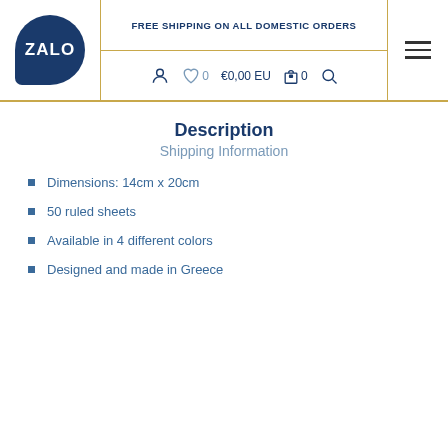FREE SHIPPING ON ALL DOMESTIC ORDERS
Description
Shipping Information
Dimensions: 14cm x 20cm
50 ruled sheets
Available in 4 different colors
Designed and made in Greece